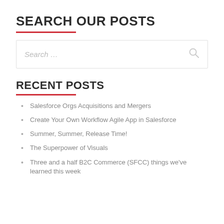SEARCH OUR POSTS
Salesforce Orgs Acquisitions and Mergers
RECENT POSTS
Salesforce Orgs Acquisitions and Mergers
Create Your Own Workflow Agile App in Salesforce
Summer, Summer, Release Time!
The Superpower of Visuals
Three and a half B2C Commerce (SFCC) things we've learned this week